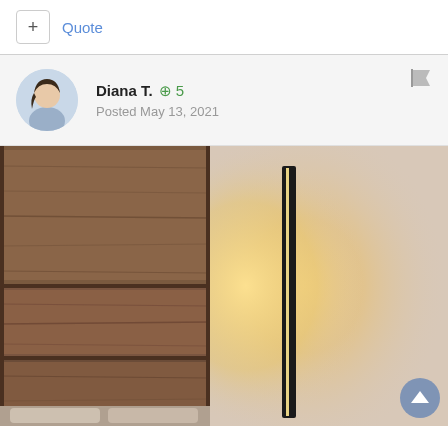+ Quote
Diana T. ⊕ 5
Posted May 13, 2021
[Figure (photo): A modern floor lamp with a tall black vertical bar emitting warm yellow light against a beige wall, placed beside a dark wood panel wall headboard in a bedroom setting.]